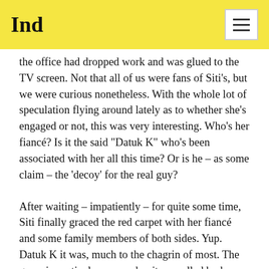Ind
the office had dropped work and was glued to the TV screen. Not that all of us were fans of Siti's, but we were curious nonetheless. With the whole lot of speculation flying around lately as to whether she's engaged or not, this was very interesting. Who's her fiancé? Is it the said "Datuk K" who's been associated with her all this time? Or is he – as some claim – the 'decoy' for the real guy?
After waiting – impatiently – for quite some time, Siti finally graced the red carpet with her fiancé and some family members of both sides. Yup. Datuk K it was, much to the chagrin of most. The guys, in particular, seemed quite appalled by her taste. (He's 20 years older than she is, divorced his wife to marry her, and is by no means at all good-looking.)
He is either not used to, or cannot speak that well in public, though he's supposedly a prominent business man. When asked by a reporter what he liked